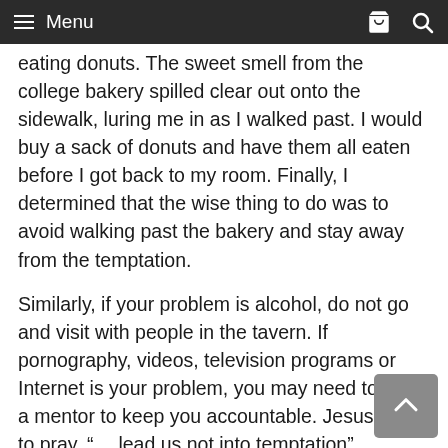Menu
eating donuts. The sweet smell from the college bakery spilled clear out onto the sidewalk, luring me in as I walked past. I would buy a sack of donuts and have them all eaten before I got back to my room. Finally, I determined that the wise thing to do was to avoid walking past the bakery and stay away from the temptation.
Similarly, if your problem is alcohol, do not go and visit with people in the tavern. If pornography, videos, television programs or Internet is your problem, you may need to find a mentor to keep you accountable. Jesus said to pray, “… lead us not into temptation” (Matthew 6:13 KJV). Often you can walk into temptation by not using good judgment.